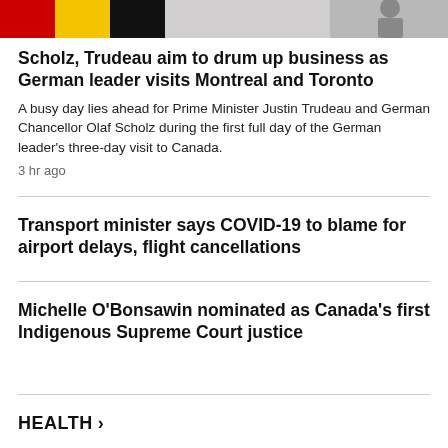[Figure (photo): Partial photo strip showing German flag colors and figures, cropped at top of page]
Scholz, Trudeau aim to drum up business as German leader visits Montreal and Toronto
A busy day lies ahead for Prime Minister Justin Trudeau and German Chancellor Olaf Scholz during the first full day of the German leader's three-day visit to Canada.
3 hr ago
Transport minister says COVID-19 to blame for airport delays, flight cancellations
Michelle O'Bonsawin nominated as Canada's first Indigenous Supreme Court justice
HEALTH >